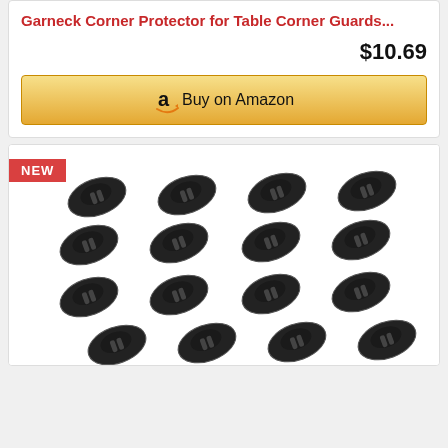Garneck Corner Protector for Table Corner Guards...
$10.69
Buy on Amazon
[Figure (photo): Product listing card showing 16 black plastic cable clips/corner protectors arranged in a 4x4 grid on a white background, with a NEW badge in red at top left.]